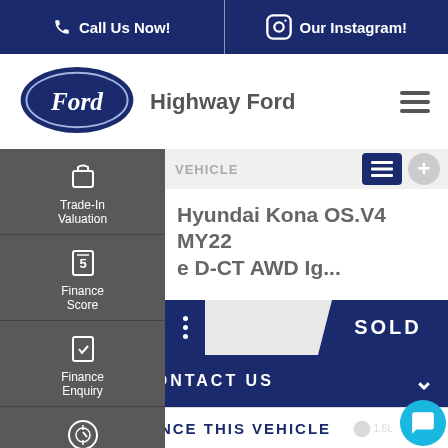Call Us Now!   Our Instagram!
[Figure (logo): Ford oval logo in dark blue with Ford script in white]
Highway Ford
Trade-In Valuation
Finance Score
Finance Enquiry
Book A Test Drive
VEHICLE
Hyundai Kona OS.V4 MY22 e D-CT AWD Ig...
SOLD
CONTACT US
FINANCE THIS VEHICLE